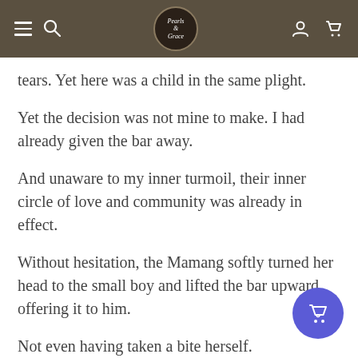Navigation bar with menu, search, logo, account, and cart icons
tears. Yet here was a child in the same plight.
Yet the decision was not mine to make. I had already given the bar away.
And unaware to my inner turmoil, their inner circle of love and community was already in effect.
Without hesitation, the Mamang softly turned her head to the small boy and lifted the bar upward, offering it to him.
Not even having taken a bite herself.
The boys eyes locked with hers. Questioning. Was it for him?